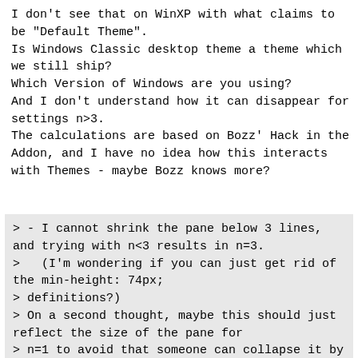I don't see that on WinXP with what claims to be "Default Theme".
Is Windows Classic desktop theme a theme which we still ship?
Which Version of Windows are you using?
And I don't understand how it can disappear for settings n>3.
The calculations are based on Bozz' Hack in the Addon, and I have no idea how this interacts with Themes - maybe Bozz knows more?
> - I cannot shrink the pane below 3 lines, and trying with n<3 results in n=3.
>   (I'm wondering if you can just get rid of the min-height: 74px;
> definitions?)
> On a second thought, maybe this should just reflect the size of the pane for
> n=1 to avoid that someone can collapse it by